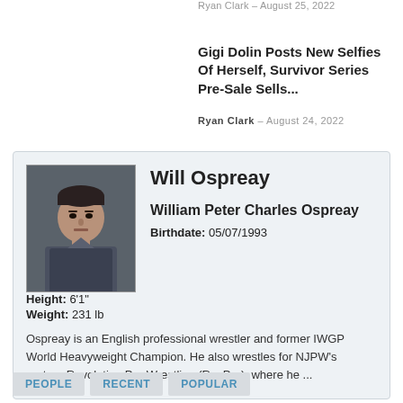Ryan Clark – August 25, 2022
Gigi Dolin Posts New Selfies Of Herself, Survivor Series Pre-Sale Sells...
Ryan Clark – August 24, 2022
[Figure (photo): Profile card for Will Ospreay showing his photo, full name William Peter Charles Ospreay, birthdate 05/07/1993, height 6'1", weight 231 lb, and a brief description.]
PEOPLE  RECENT  POPULAR